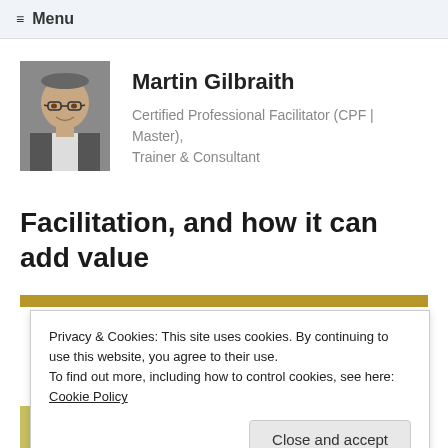≡ Menu
[Figure (photo): Portrait photo of Martin Gilbraith, a bald man wearing glasses and a suit jacket]
Martin Gilbraith
Certified Professional Facilitator (CPF | Master), Trainer & Consultant
Facilitation, and how it can add value
Privacy & Cookies: This site uses cookies. By continuing to use this website, you agree to their use.
To find out more, including how to control cookies, see here: Cookie Policy
Close and accept